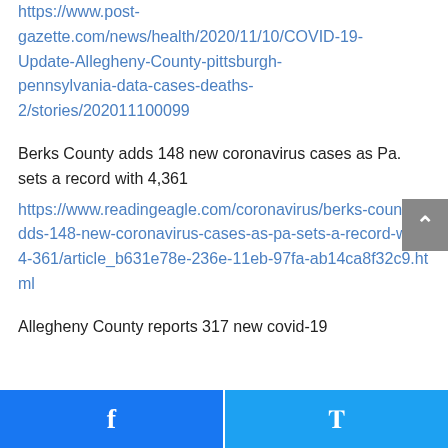https://www.post-gazette.com/news/health/2020/11/10/COVID-19-Update-Allegheny-County-pittsburgh-pennsylvania-data-cases-deaths-2/stories/202011100099
Berks County adds 148 new coronavirus cases as Pa. sets a record with 4,361
https://www.readingeagle.com/coronavirus/berks-county-adds-148-new-coronavirus-cases-as-pa-sets-a-record-with-4-361/article_b631e78e-236e-11eb-97fa-ab14ca8f32c9.html
Allegheny County reports 317 new covid-19